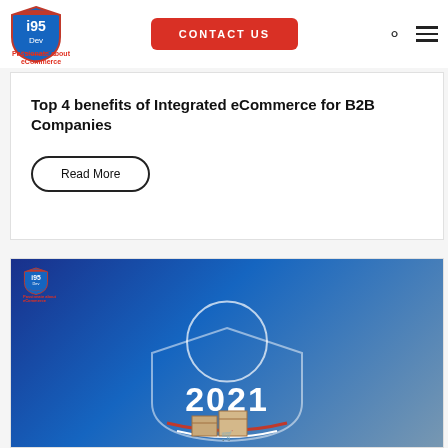[Figure (logo): i95Dev shield logo with 'Passionate about eCommerce' tagline]
Contact Us
Top 4 benefits of Integrated eCommerce for B2B Companies
Read More
[Figure (photo): i95Dev 2021 branded image with warehouse boxes background and large '2021' text overlay]